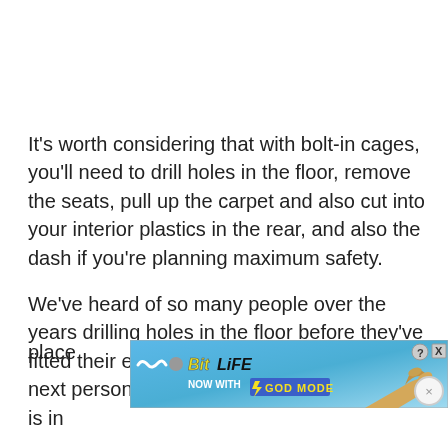It's worth considering that with bolt-in cages, you'll need to drill holes in the floor, remove the seats, pull up the carpet and also cut into your interior plastics in the rear, and also the dash if you're planning maximum safety.
We've heard of so many people over the years drilling holes in the floor before they've fitted their entire bolt-in cage. Don't be the next person to do so! Ensure that everything is in place before fitting.
[Figure (other): Advertisement banner for BitLife game with 'NOW WITH GOD MODE' text, showing a pointing hand illustration on a blue sky background, with close and help buttons.]